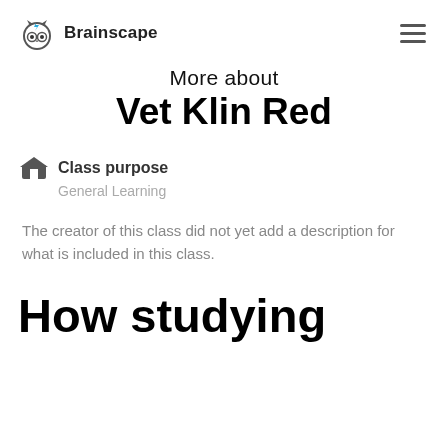Brainscape
More about Vet Klin Red
Class purpose
General Learning
The creator of this class did not yet add a description for what is included in this class.
How studying